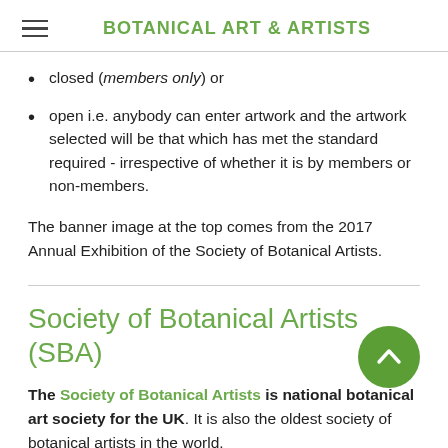BOTANICAL ART & ARTISTS
closed (members only) or
open i.e. anybody can enter artwork and the artwork selected will be that which has met the standard required - irrespective of whether it is by members or non-members.
The banner image at the top comes from the 2017 Annual Exhibition of the Society of Botanical Artists.
Society of Botanical Artists (SBA)
The Society of Botanical Artists is national botanical art society for the UK. It is also the oldest society of botanical artists in the world.
This is its exhibiti…